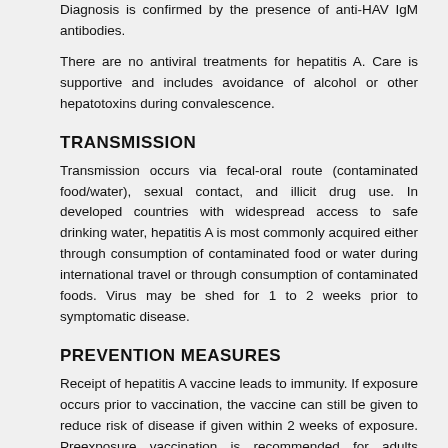Diagnosis is confirmed by the presence of anti-HAV IgM antibodies.
There are no antiviral treatments for hepatitis A. Care is supportive and includes avoidance of alcohol or other hepatotoxins during convalescence.
TRANSMISSION
Transmission occurs via fecal-oral route (contaminated food/water), sexual contact, and illicit drug use. In developed countries with widespread access to safe drinking water, hepatitis A is most commonly acquired either through consumption of contaminated food or water during international travel or through consumption of contaminated foods. Virus may be shed for 1 to 2 weeks prior to symptomatic disease.
PREVENTION MEASURES
Receipt of hepatitis A vaccine leads to immunity. If exposure occurs prior to vaccination, the vaccine can still be given to reduce risk of disease if given within 2 weeks of exposure. Preexposure vaccination is recommended for adults traveling to certain regions with high rates of hepatitis A or for individuals with known liver disease. For the prevention of foodborne outbreaks, cooking to temperatures >185°F for >1 minute inactivates the virus.